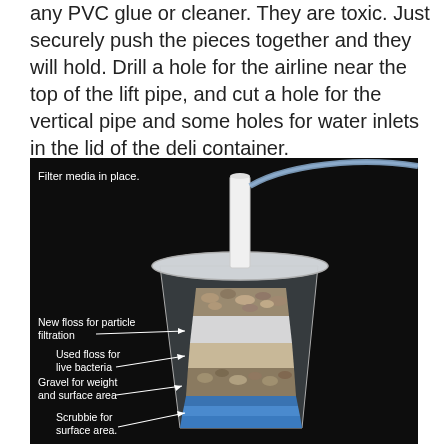any PVC glue or cleaner. They are toxic. Just securely push the pieces together and they will hold. Drill a hole for the airline near the top of the lift pipe, and cut a hole for the vertical pipe and some holes for water inlets in the lid of the deli container.
[Figure (photo): Photo of a DIY aquarium filter inside a clear plastic deli container with a white PVC lift pipe and airline tube on top, and labeled layers of filter media: 'Filter media in place.' at top left, 'New floss for particle filtration' pointing to upper layer, 'Used floss for live bacteria' pointing to middle layer, 'Gravel for weight and surface area' pointing to lower-middle layer, 'Scrubbie for surface area.' pointing to bottom blue layer.]